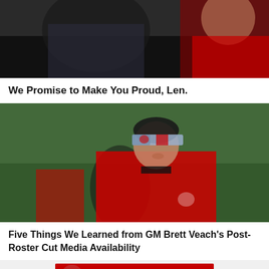[Figure (photo): Top portion of a photo showing people in red Kansas City Chiefs apparel, partial view cropped at top]
We Promise to Make You Proud, Len.
[Figure (photo): Man wearing a Kansas City Chiefs red shirt and a camouflage pattern visor/cap with Chiefs logo, standing on a green field at practice]
Five Things We Learned from GM Brett Veach's Post-Roster Cut Media Availability
[Figure (other): Ticketmaster advertisement banner with red background, NFL logo, and a Kansas City Chiefs player photo]